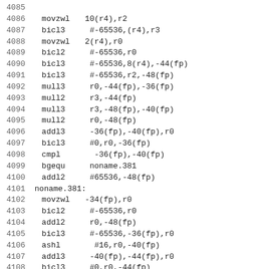4085
4086  movzwl  10(r4),r2
4087  bicl3   #-65536,(r4),r3
4088  movzwl  2(r4),r0
4089  bicl2   #-65536,r0
4090  bicl3   #-65536,8(r4),-44(fp)
4091  bicl3   #-65536,r2,-48(fp)
4092  mull3   r0,-44(fp),-36(fp)
4093  mull2   r3,-44(fp)
4094  mull3   r3,-48(fp),-40(fp)
4095  mull2   r0,-48(fp)
4096  addl3   -36(fp),-40(fp),r0
4097  bicl3   #0,r0,-36(fp)
4098  cmpl    -36(fp),-40(fp)
4099  bgequ   noname.381
4100  addl2   #65536,-48(fp)
4101 noname.381:
4102  movzwl  -34(fp),r0
4103  bicl2   #-65536,r0
4104  addl2   r0,-48(fp)
4105  bicl3   #-65536,-36(fp),r0
4106  ashl    #16,r0,-40(fp)
4107  addl3   -40(fp),-44(fp),r0
4108  bicl3   #0,r0,-44(fp)
4109  cmpl    -44(fp),-40(fp)
4110  bgequ   noname.382
4111  incl    -48(fp)
4112 noname.382:
4113  movl    -44(fp),r3
4114  movl    -48(fp),r2
4115  bbc     #31,r2,noname.383
4116  incl    r8
4117  ...